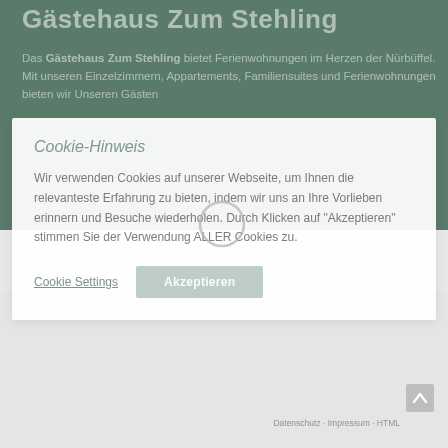Gästehaus Zum Stehling
Das Gästehaus Zum Stehling bietet Ferienwohnungen im Herzen der Nürbüffel. Mit unseren Einzelzimmern, Appartements, Familiensuites und Ferienwohnungen bieten wir Unseren Gästen ...
Cookie-Hinweis
Wir verwenden Cookies auf unserer Webseite, um Ihnen die relevanteste Erfahrung zu bieten, indem wir uns an Ihre Vorlieben erinnern und Besuche wiederholen. Durch Klicken auf "Akzeptieren" stimmen Sie der Verwendung ALLER Cookies zu.
Cookie Settings   Akzeptieren
Datenschutz - Impressum - HTML